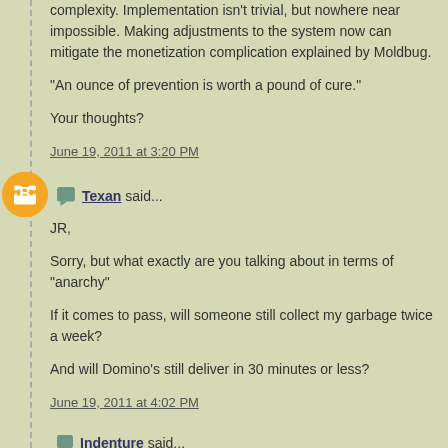complexity. Implementation isn't trivial, but nowhere near impossible. Making adjustments to the system now can mitigate the monetization complication explained by Moldbug.
"An ounce of prevention is worth a pound of cure."
Your thoughts?
June 19, 2011 at 3:20 PM
Texan said...
JR,
Sorry, but what exactly are you talking about in terms of "anarchy"
If it comes to pass, will someone still collect my garbage twice a week?
And will Domino's still deliver in 30 minutes or less?
June 19, 2011 at 4:02 PM
Indenture said...
RPL: Thanks! "The bitcoin will be back to around 17.5$/BTC after